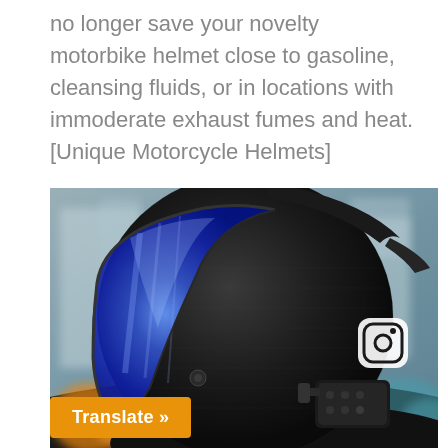no longer save your novelty motorbike helmet close to gasoline, cleansing fluids, or in locations with immoderate exhaust fumes and heat.[Unique Motorcycle Helmets]
[Figure (photo): A side/rear view of a black carbon fiber motorcycle helmet with a blue iridescent visor and a Bluetooth communication device attached to the side. The helmet sits on a motorcycle in an outdoor urban setting.]
Translate »